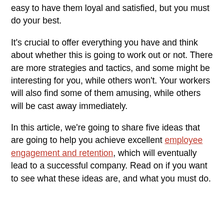easy to have them loyal and satisfied, but you must do your best.
It's crucial to offer everything you have and think about whether this is going to work out or not. There are more strategies and tactics, and some might be interesting for you, while others won't. Your workers will also find some of them amusing, while others will be cast away immediately.
In this article, we're going to share five ideas that are going to help you achieve excellent employee engagement and retention, which will eventually lead to a successful company. Read on if you want to see what these ideas are, and what you must do.